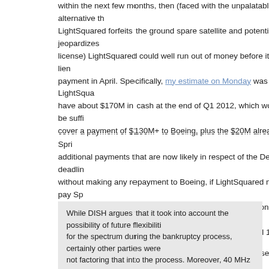within the next few months, then (faced with the unpalatable alternative that LightSquared forfeits the ground spare satellite and potentially jeopardizes its license) LightSquared could well run out of money before its next first lien payment in April. Specifically, my estimate on Monday was that LightSquared have about $170M in cash at the end of Q1 2012, which would not be sufficient to cover a payment of $130M+ to Boeing, plus the $20M already paid to Sprint, plus additional payments that are now likely in respect of the December deadline. Even without making any repayment to Boeing, if LightSquared needs to pay Sprint an extra $20M for each additional 3 month deadline extension, then it would have just enough money to make the interest payment due on April 1, 2012.
In the case of DISH, it appears that the news of a Sprint settlement is more mixed, as it removes one of the main roadblocks to the FCC approving a transfer of the DBSD and TerreStar assets to DISH. However, DISH's requested ATC waiver has come under more pressure, with AT&T now joining the CTIA in pressing for the waiver issue to be considered in a full rulemaking proceeding. Interestingly, both AT&T and the CTIA raise the question of a windfall, with the CTIA explicitly stating (footnote 21) that:
While DISH argues that it took into account the possibility of future flexibility for the spectrum during the bankruptcy process, certainly other parties were not factoring that into the process. Moreover, 40 MHz of nationwide, terrestrial broadband spectrum would not be valued at $2.8 billion. When looking at p valuations for such spectrum assets, a valuation of 3 to 4 times this would be more realistic if terrestrial rights were guaranteed.